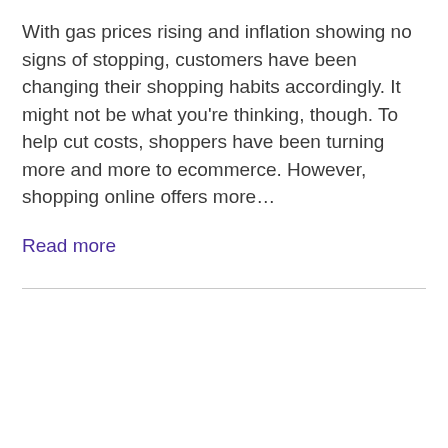With gas prices rising and inflation showing no signs of stopping, customers have been changing their shopping habits accordingly. It might not be what you're thinking, though. To help cut costs, shoppers have been turning more and more to ecommerce. However, shopping online offers more…
Read more